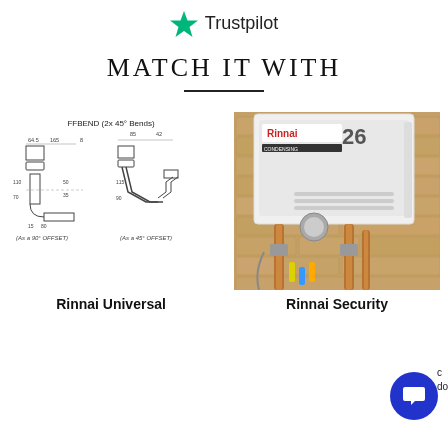[Figure (logo): Trustpilot logo with green star and text 'Trustpilot']
MATCH IT WITH
[Figure (engineering-diagram): FFBEND (2x 45-degree Bends) technical drawing showing pipe fitting dimensions for 90-degree OFFSET and 45-degree OFFSET configurations with measurements including 64.5, 165, 8, 85, 42, 110, 70, 50, 35, 15, 80, 115, 90]
[Figure (photo): Rinnai 26 Condensing water heater unit mounted on brick wall with copper pipes and fittings below it]
Rinnai Universal
Rinnai Security